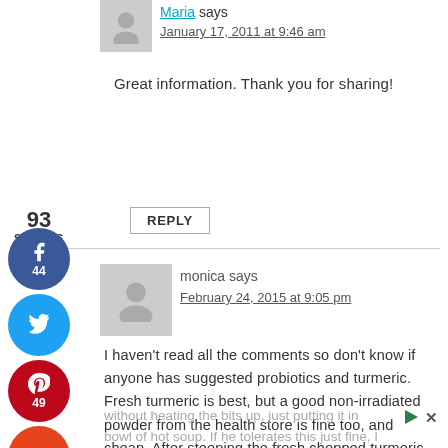Maria says
January 17, 2011 at 9:46 am
Great information. Thank you for sharing!
REPLY
93 SHARES
monica says
February 24, 2015 at 9:05 pm
I haven't read all the comments so don't know if anyone has suggested probiotics and turmeric. Fresh turmeric is best, but a good non-irradiated powder from the health store is fine too, and cheap. After steeping the fresh chopped turmeric, see if you can get him to eat the bits in some kind of soup or something, without heating the bits up, just putting it in bowl of hot soup. If he tolerates this just fine, I